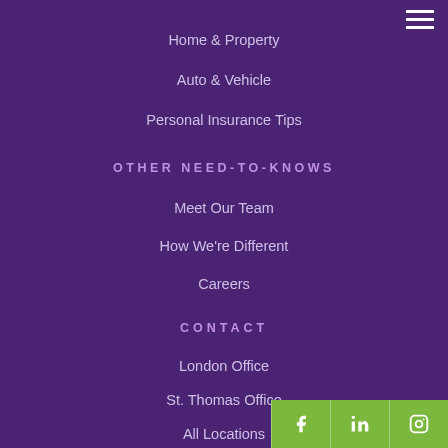Home & Property
Auto & Vehicle
Personal Insurance Tips
OTHER NEED-TO-KNOWS
Meet Our Team
How We're Different
Careers
CONTACT
London Office
St. Thomas Office
All Locations